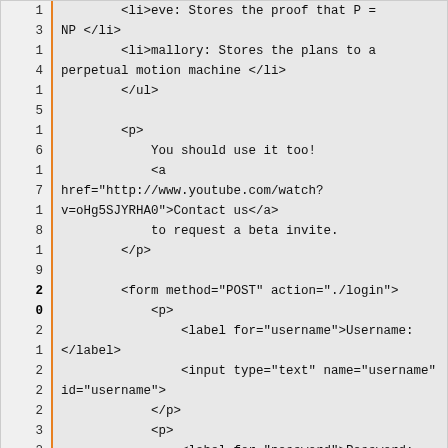[Figure (screenshot): Code editor screenshot showing HTML code with line numbers on the left. Lines include list items for eve and mallory, closing ul tag, paragraph with link to youtube, and a form with POST method, labels and inputs for username and password.]